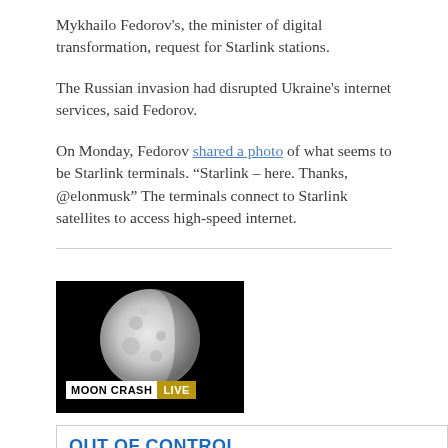Mykhailo Fedorov's, the minister of digital transformation, request for Starlink stations.
The Russian invasion had disrupted Ukraine's internet services, said Fedorov.
On Monday, Fedorov shared a photo of what seems to be Starlink terminals. “Starlink – here. Thanks, @elonmusk” The terminals connect to Starlink satellites to access high-speed internet.
[Figure (photo): Thumbnail image of the moon against a black background with overlay text reading MOON CRASH LIVE]
OUT OF CONTROL